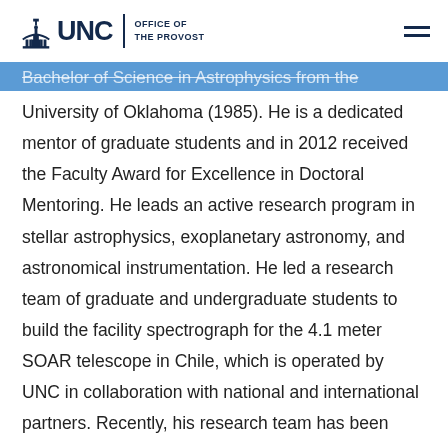UNC Office of the Provost
Bachelor of Science in Astrophysics from the University of Oklahoma (1985). He is a dedicated mentor of graduate students and in 2012 received the Faculty Award for Excellence in Doctoral Mentoring. He leads an active research program in stellar astrophysics, exoplanetary astronomy, and astronomical instrumentation. He led a research team of graduate and undergraduate students to build the facility spectrograph for the 4.1 meter SOAR telescope in Chile, which is operated by UNC in collaboration with national and international partners. Recently, his research team has been using the spectrograph to measure the elemental